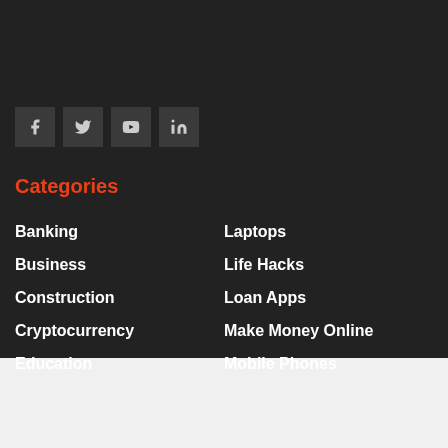[Figure (infographic): Social media icons: Facebook, Twitter, YouTube, LinkedIn on dark background squares]
Categories
Banking
Laptops
Business
Life Hacks
Construction
Loan Apps
Cryptocurrency
Make Money Online
Education
Mobile Phones